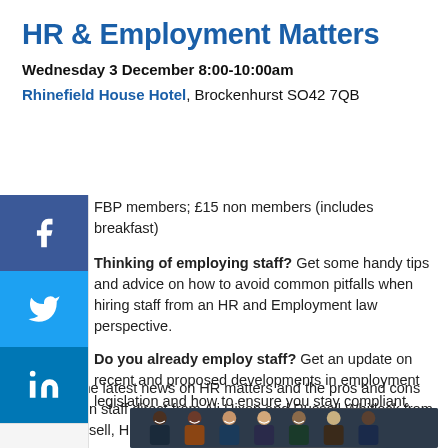HR & Employment Matters
Wednesday 3 December 8:00-10:00am
Rhinefield House Hotel, Brockenhurst SO42 7QB
FBP members; £15 non members (includes breakfast)
Thinking of employing staff? Get some handy tips and advice on how to avoid common pitfalls when hiring staff from an HR and Employment law perspective.
Do you already employ staff? Get an update on recent and proposed developments in employment legislation and how to ensure you stay compliant.
Find out the latest news on HR matters and the pros and cons of taking on staff direct from Ali Hixon and Russell Whitlock from Hixon Russell, HR Employment Consultants.
Join us
[Figure (photo): Group of business professionals smiling, formal attire, mixed group]